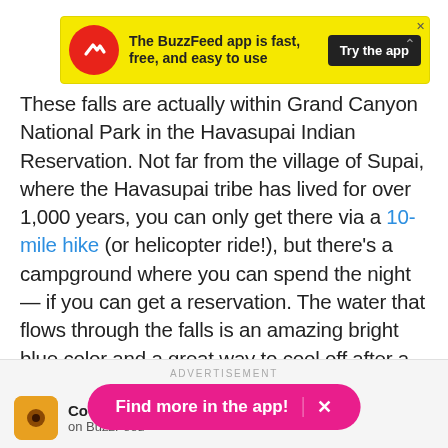[Figure (screenshot): BuzzFeed app advertisement banner with yellow background, red circular logo with white arrow, text 'The BuzzFeed app is fast, free, and easy to use', black 'Try the app' button, and close X button]
These falls are actually within Grand Canyon National Park in the Havasupai Indian Reservation. Not far from the village of Supai, where the Havasupai tribe has lived for over 1,000 years, you can only get there via a 10-mile hike (or helicopter ride!), but there's a campground where you can spend the night — if you can get a reservation. The water that flows through the falls is an amazing bright blue color and a great way to cool off after a hot day in the canyon.
ADVERTISEMENT
[Figure (screenshot): Pink pill-shaped 'Find more in the app!' button with X close icon, overlaying BuzzFeed bottom bar with Cocoa B... app icon and 'on BuzzFeed' text]